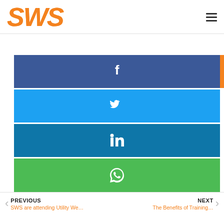SWS
[Figure (infographic): Social share buttons: Facebook (dark blue), Twitter (light blue), LinkedIn (dark cyan), WhatsApp (green), with accessibility icon (orange) overlapping top-right of Facebook button]
PREVIOUS
SWS are attending Utility We…
NEXT
The Benefits of Training…